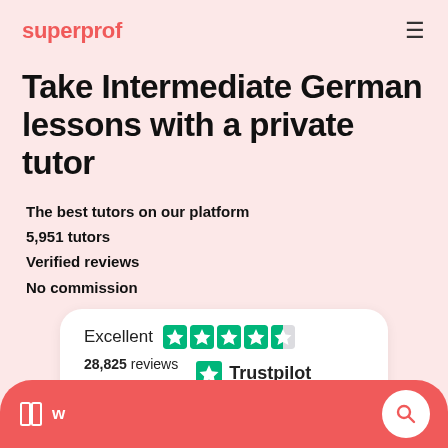superprof
Take Intermediate German lessons with a private tutor
The best tutors on our platform
5,951 tutors
Verified reviews
No commission
[Figure (infographic): Trustpilot rating card showing Excellent with 4.5 green stars and 28,825 reviews on Trustpilot]
w... [navigation bar with search icon]